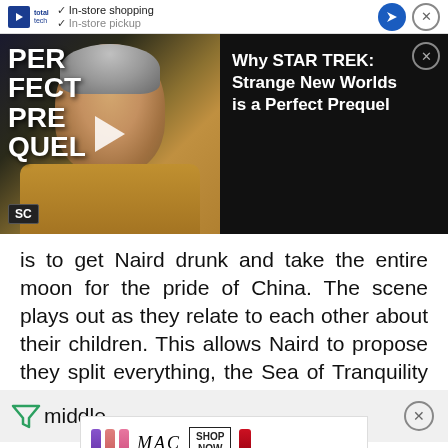[Figure (screenshot): Top browser ad bar showing 'In-store shopping' with Totaltech logo and navigation arrow]
[Figure (screenshot): Video ad thumbnail for Star Trek: Strange New Worlds - 'Perfect Prequel' with SC badge and play button overlay, alongside title card 'Why STAR TREK: Strange New Worlds is a Perfect Prequel']
is to get Naird drunk and take the entire moon for the pride of China. The scene plays out as they relate to each other about their children. This allows Naird to propose they split everything, the Sea of Tranquility and the resources discovered there, down the middle.
[Figure (screenshot): MAC cosmetics advertisement banner with lipsticks and 'SHOP NOW' button]
Episode 4: "The Europa Project"
The ... is a meandering episode that tries some "offic...